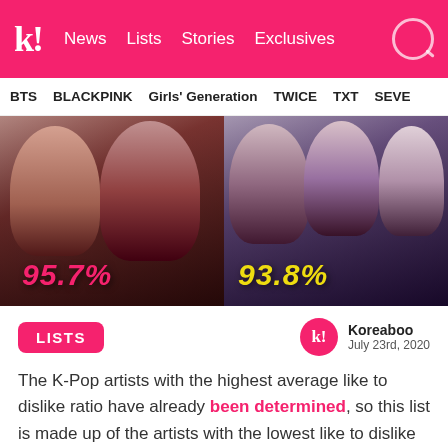k! News Lists Stories Exclusives
BTS BLACKPINK Girls' Generation TWICE TXT SEVE
[Figure (photo): Two banner photos side by side: left shows K-pop female artists with red overlay text '95.7%', right shows K-pop female artists with yellow overlay text '93.8%']
LISTS
Koreaboo
July 23rd, 2020
The K-Pop artists with the highest average like to dislike ratio have already been determined, so this list is made up of the artists with the lowest like to dislike ratio. Oftentimes K-Pop groups that are highly popular get attacked heavily by antis which might contribute to d